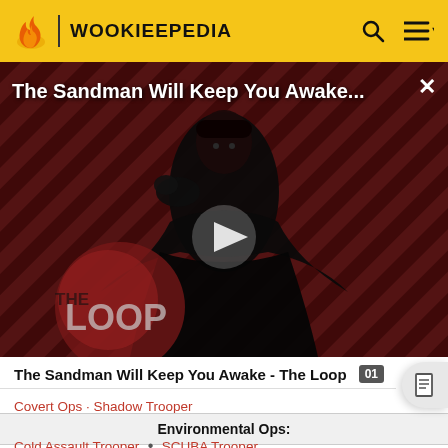WOOKIEEPEDIA
[Figure (screenshot): Video thumbnail for 'The Sandman Will Keep You Awake...' showing a dark-cloaked figure against a diagonal striped red-brown background, with 'THE LOOP' watermark and a play button in the center.]
The Sandman Will Keep You Awake - The Loop
Covert Ops · Shadow Trooper
Environmental Ops:
Cold Assault Trooper • SCUBA Trooper